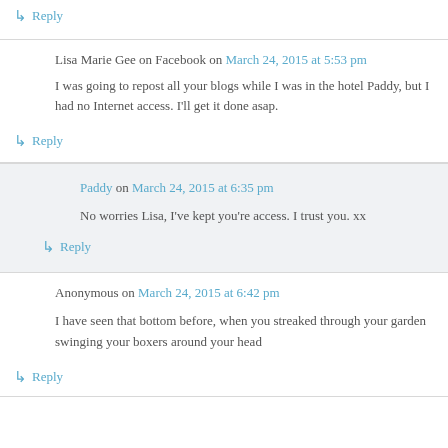↳ Reply
Lisa Marie Gee on Facebook on March 24, 2015 at 5:53 pm
I was going to repost all your blogs while I was in the hotel Paddy, but I had no Internet access. I'll get it done asap.
↳ Reply
Paddy on March 24, 2015 at 6:35 pm
No worries Lisa, I've kept you're access. I trust you. xx
↳ Reply
Anonymous on March 24, 2015 at 6:42 pm
I have seen that bottom before, when you streaked through your garden swinging your boxers around your head
↳ Reply